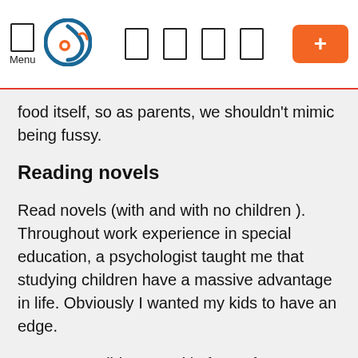Menu [logo] [icons] [+]
food itself, so as parents, we shouldn't mimic being fussy.
Reading novels
Read novels (with and with no children ). Throughout work experience in special education, a psychologist taught me that studying children have a massive advantage in life. Obviously I wanted my kids to have an edge.
My parents did not read in front of us. My mother could not read, and that I understand my father could read, since he read papers frequently, but I